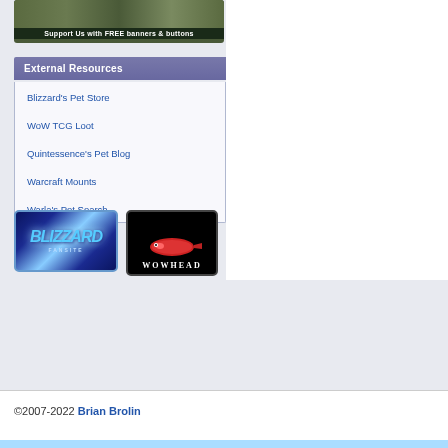[Figure (illustration): Banner image with fantasy creatures and text 'Support Us with FREE banners & buttons']
External Resources
Blizzard's Pet Store
WoW TCG Loot
Quintessence's Pet Blog
Warcraft Mounts
Warla's Pet Search
[Figure (logo): Blizzard Fansite badge logo — blue icy Blizzard logo with FANSITE text]
[Figure (logo): Wowhead badge — black background with red fish and WOWHEAD text]
©2007-2022 Brian Brolin